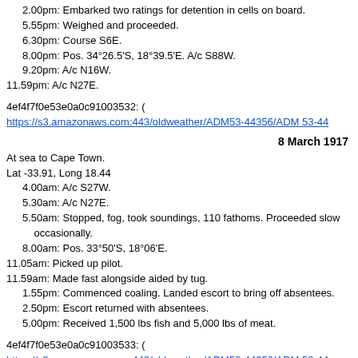2.00pm: Embarked two ratings for detention in cells on board.
5.55pm: Weighed and proceeded.
6.30pm: Course S6E.
8.00pm: Pos. 34°26.5'S, 18°39.5'E. A/c S88W.
9.20pm: A/c N16W.
11.59pm: A/c N27E.
4ef4f7f0e53e0a0c91003532: ( https://s3.amazonaws.com:443/oldweather/ADM53-44356/ADM 53-44
8 March 1917
At sea to Cape Town.
Lat -33.91, Long 18.44
4.00am: A/c S27W.
5.30am: A/c N27E.
5.50am: Stopped, fog, took soundings, 110 fathoms. Proceeded slowly occasionally.
8.00am: Pos. 33°50'S, 18°06'E.
11.05am: Picked up pilot.
11.59am: Made fast alongside aided by tug.
1.55pm: Commenced coaling. Landed escort to bring off absentees.
2.50pm: Escort returned with absentees.
5.00pm: Received 1,500 lbs fish and 5,000 lbs of meat.
4ef4f7f0e53e0a0c91003533: ( https://s3.amazonaws.com:443/oldweather/ADM53-44356/ADM 53-44
9 March 1917
Cape Town.
Lat -33.91, Long 18.44